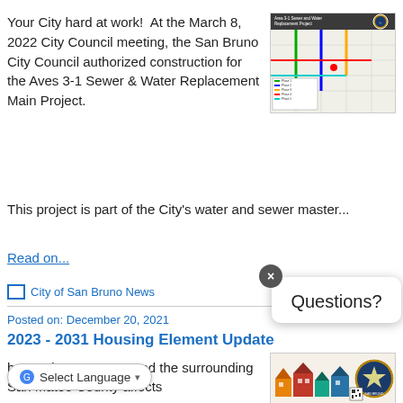Your City hard at work!  At the March 8, 2022 City Council meeting, the San Bruno City Council authorized construction for the Aves 3-1 Sewer & Water Replacement Main Project.
[Figure (map): Area 3-1 Sewer and Water Replacement Project map showing street grid with colored lines indicating sewer and water lines]
This project is part of the City's water and sewer master...
Read on...
City of San Bruno News
Posted on: December 20, 2021
2023 - 2031 Housing Element Update
[Figure (illustration): Housing Element Update graphic showing colorful houses with City of San Bruno seal and QR code]
homes in San Bruno and the surrounding San Mateo County affects